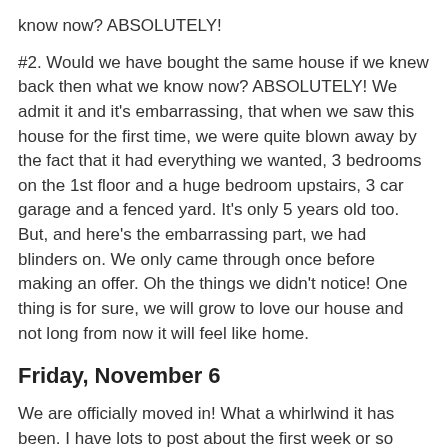know now? ABSOLUTELY!
#2. Would we have bought the same house if we knew back then what we know now? ABSOLUTELY! We admit it and it's embarrassing, that when we saw this house for the first time, we were quite blown away by the fact that it had everything we wanted, 3 bedrooms on the 1st floor and a huge bedroom upstairs, 3 car garage and a fenced yard. It's only 5 years old too. But, and here's the embarrassing part, we had blinders on. We only came through once before making an offer. Oh the things we didn't notice! One thing is for sure, we will grow to love our house and not long from now it will feel like home.
Friday, November 6
We are officially moved in! What a whirlwind it has been. I have lots to post about the first week or so (edit, first couple of months!) and it's all super negative. I just feel I need to vent about it and move on. I have moved on and so has Paul, but the whole process has been pretty awful. Feel free to just move along and not even read this, I totally